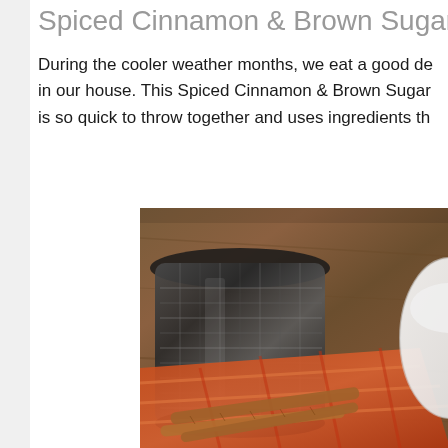Spiced Cinnamon & Brown Sugar Butte
During the cooler weather months, we eat a good de in our house. This Spiced Cinnamon & Brown Sugar is so quick to throw together and uses ingredients th
[Figure (photo): Photo of a dark woven ceramic pot/candle holder on a wooden surface, with an orange/red plaid napkin, cinnamon sticks, and a white ceramic dish partially visible on the right side.]